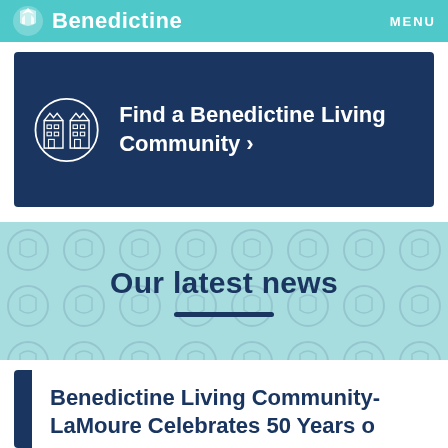Benedictine | MENU
Find a Benedictine Living Community ›
Our latest news
Benedictine Living Community-LaMoure Celebrates 50 Years of